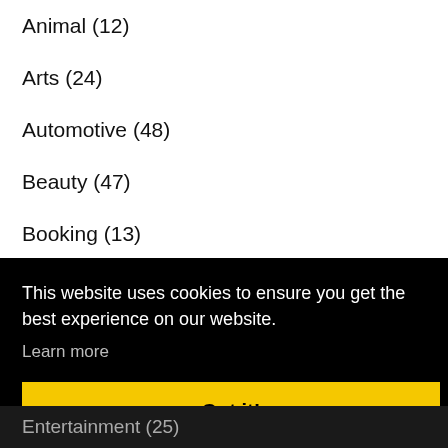Animal (12)
Arts (24)
Automotive (48)
Beauty (47)
Booking (13)
Business (1273)
Communication (22)
This website uses cookies to ensure you get the best experience on our website.
Learn more
Got it!
Entertainment (25)